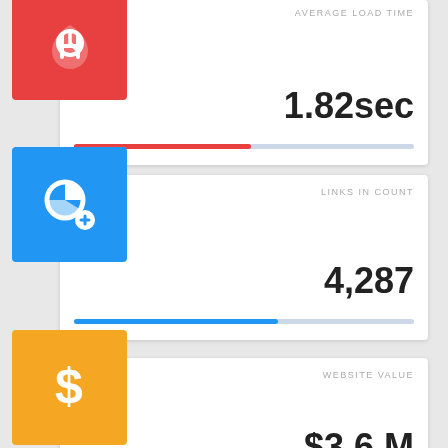[Figure (infographic): Dashboard metric card: Average Load Time = 1.82sec with red progress bar at ~52%]
[Figure (infographic): Dashboard metric card: Links In Count = 4,287 with blue progress bar at ~60%]
[Figure (infographic): Dashboard metric card: Website Value = $3.6 M with orange dollar sign icon]